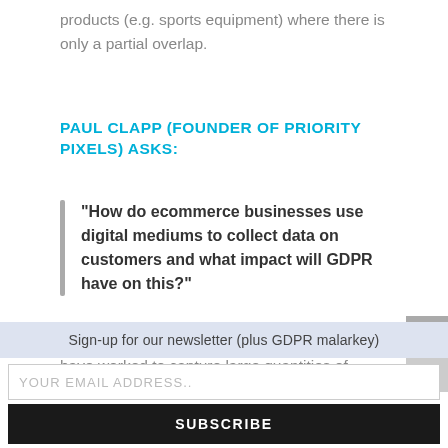products (e.g. sports equipment) where there is only a partial overlap.
PAUL CLAPP (FOUNDER OF PRIORITY PIXELS) ASKS:
“How do ecommerce businesses use digital mediums to collect data on customers and what impact will GDPR have on this?”
Until recently, ecommerce businesses have worked to capture large quantities of data about their
Sign-up for our newsletter (plus GDPR malarkey)
YOUR EMAIL ADDRESS..
SUBSCRIBE